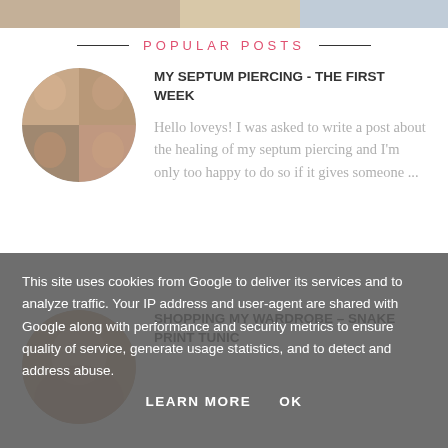[Figure (photo): Top cropped image strip showing partial photo]
POPULAR POSTS
[Figure (photo): Circular collage of four selfie photos]
MY SEPTUM PIERCING - THE FIRST WEEK
Hello loveys! I was asked to write a post about the healing of my septum piercing and I'm only too happy to do so if it gives someone ...
[Figure (photo): Circular portrait photo of a woman]
SHOPPING MY WARDROBE - SNAKE PRINT TUNIC
This site uses cookies from Google to deliver its services and to analyze traffic. Your IP address and user-agent are shared with Google along with performance and security metrics to ensure quality of service, generate usage statistics, and to detect and address abuse.
LEARN MORE   OK